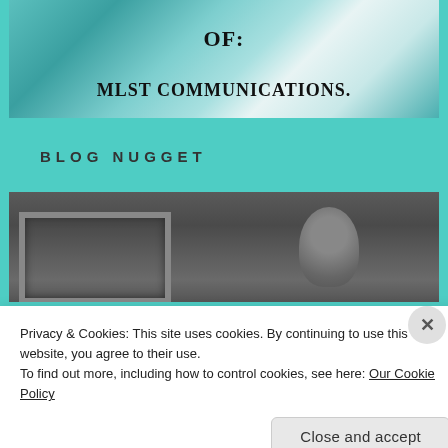[Figure (screenshot): Website screenshot showing teal/turquoise background with iceberg image at top containing text 'OF:' and 'MLST COMMUNICATIONS.' in bold serif font]
BLOG NUGGET
[Figure (photo): Black and white photo showing a framed picture on left and person's head/back visible on right]
Privacy & Cookies: This site uses cookies. By continuing to use this website, you agree to their use.
To find out more, including how to control cookies, see here: Our Cookie Policy
Close and accept